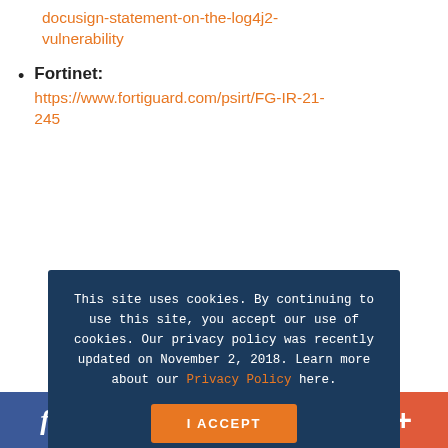docusign-statement-on-the-log4j2-vulnerability
Fortinet: https://www.fortiguard.com/psirt/FG-IR-21-245
[Figure (screenshot): Cookie consent overlay on dark navy background with text: 'This site uses cookies. By continuing to use this site, you accept our use of cookies. Our privacy policy was recently updated on November 2, 2018. Learn more about our Privacy Policy here.' and an orange 'I ACCEPT' button.]
logicmonitor-collectors-running-vulnerable-version-of-log4j-are-affected-by-log4shell-cve-2021-44228-vulnerability/
[Figure (other): Social sharing bar with Facebook, Twitter, Print, Email, and More (+) buttons]